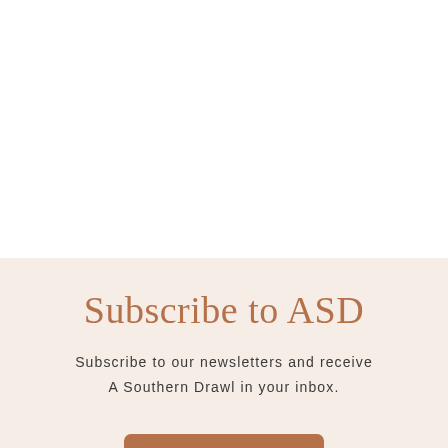Subscribe to ASD
Subscribe to our newsletters and receive A Southern Drawl in your inbox.